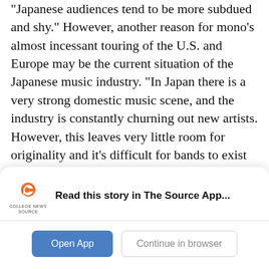“Japanese audiences tend to be more subdued and shy.” However, another reason for mono’s almost incessant touring of the U.S. and Europe may be the current situation of the Japanese music industry. “In Japan there is a very strong domestic music scene, and the industry is constantly churning out new artists. However, this leaves very little room for originality and it’s difficult for bands to exist apart from the mass market. Also, while it is completely natural for American bands to tour Europe and Asia, Japanese bands are rarely exported. I wanted to try and tour the U.S. right from the beginning, and I have found that this
[Figure (logo): College News Source logo: orange swoosh/C shape with text COLLEGE NEWS SOURCE below]
Read this story in The Source App...
Open App
Continue in browser